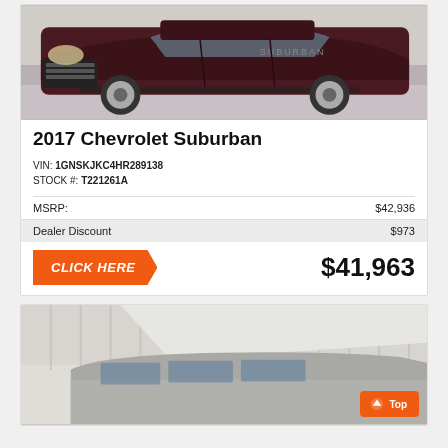[Figure (photo): Front view of a dark maroon/brown 2017 Chevrolet Suburban SUV in a showroom setting]
2017 Chevrolet Suburban
VIN: 1GNSKJKC4HR289138
STOCK #: T221261A
| MSRP: | $42,936 |
| Dealer Discount | $973 |
CLICK HERE
$41,963
[Figure (photo): Partial view of a silver/gray truck or SUV in a dealership garage with vertical corrugated walls, with an orange 'Top' navigation button overlay]